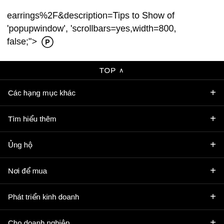earrings%2F&description=Tips to Show of 'popupwindow', 'scrollbars=yes,width=800, false;"> ⓟ
Các hạng mục khác
Tìm hiểu thêm
Ủng hộ
Nơi để mua
Phát triển kinh doanh
Cho doanh nghiệp
Know About HOFOOKKEI
Copyright Notice © 2021 YABARO Holding Limited and/or its affiliates and licensors. All rights reserved.